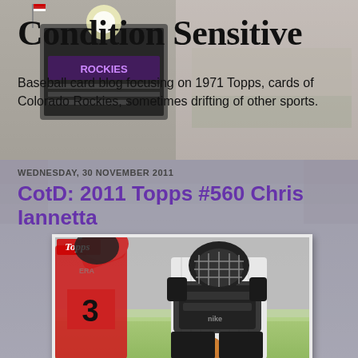[Figure (photo): Blog header background showing Coors Field stadium scoreboard with Rockies signage at night with bright lights]
Condition Sensitive
Baseball card blog focusing on 1971 Topps, cards of Colorado Rockies, sometimes drifting of other sports.
[Figure (photo): Background image of stadium crowd and field overlaid on content section]
WEDNESDAY, 30 NOVEMBER 2011
CotD: 2011 Topps #560 Chris Iannetta
[Figure (photo): 2011 Topps baseball card #560 showing Chris Iannetta as catcher in Colorado Rockies gear crouching, with a batter in red uniform visible on left side bearing number 3 and Topps logo]